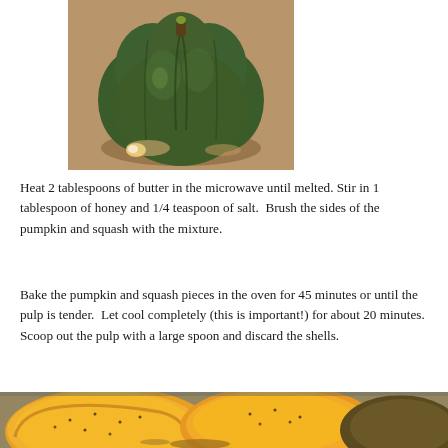[Figure (photo): A whole dark green acorn squash or pumpkin sitting on a light brown surface, viewed from above.]
Heat 2 tablespoons of butter in the microwave until melted. Stir in 1 tablespoon of honey and 1/4 teaspoon of salt.  Brush the sides of the pumpkin and squash with the mixture.
Bake the pumpkin and squash pieces in the oven for 45 minutes or until the pulp is tender.  Let cool completely (this is important!) for about 20 minutes.  Scoop out the pulp with a large spoon and discard the shells.
[Figure (photo): Roasted pumpkin and squash halves on a baking tray, showing golden-orange flesh with seasoning, partially visible at the bottom of the page.]